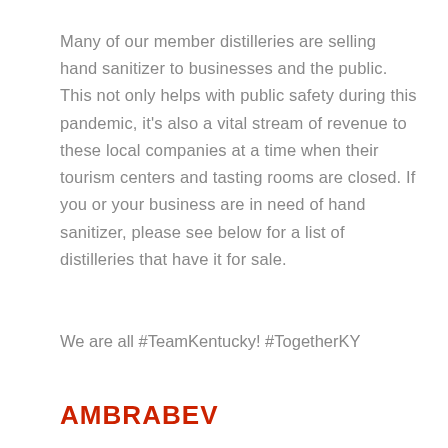Many of our member distilleries are selling hand sanitizer to businesses and the public. This not only helps with public safety during this pandemic, it's also a vital stream of revenue to these local companies at a time when their tourism centers and tasting rooms are closed. If you or your business are in need of hand sanitizer, please see below for a list of distilleries that have it for sale.
We are all #TeamKentucky! #TogetherKY
AMBRABEV